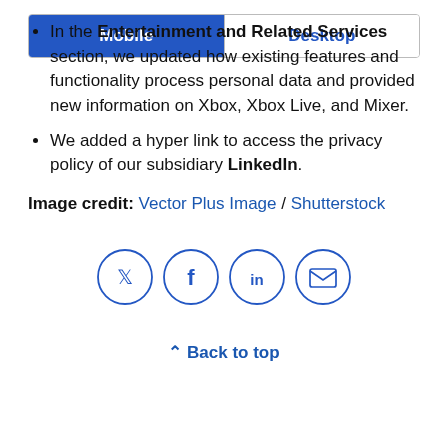In the Entertainment and Related Services section, we updated how existing features and functionality process personal data and provided new information on Xbox, Xbox Live, and Mixer.
We added a hyper link to access the privacy policy of our subsidiary LinkedIn.
Image credit: Vector Plus Image / Shutterstock
[Figure (infographic): Four circular social media share icons: Twitter, Facebook, LinkedIn, Email]
^ Back to top
Mobile | Desktop toggle bar